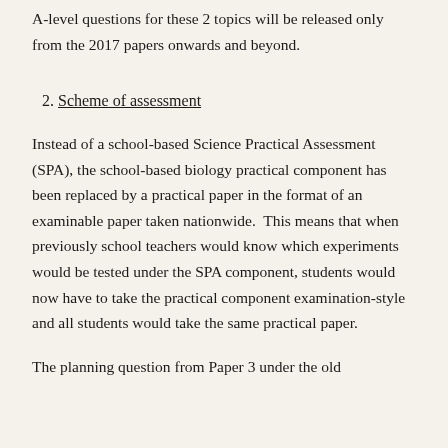A-level questions for these 2 topics will be released only from the 2017 papers onwards and beyond.
2. Scheme of assessment
Instead of a school-based Science Practical Assessment (SPA), the school-based biology practical component has been replaced by a practical paper in the format of an examinable paper taken nationwide.  This means that when previously school teachers would know which experiments would be tested under the SPA component, students would now have to take the practical component examination-style and all students would take the same practical paper.
The planning question from Paper 3 under the old